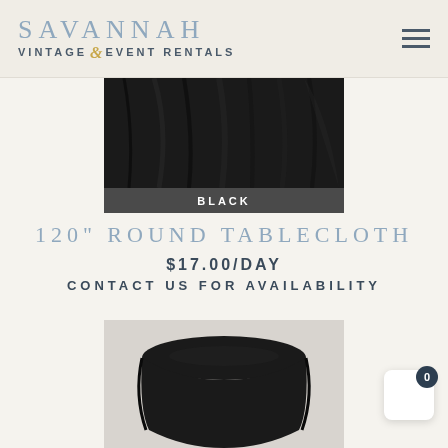SAVANNAH VINTAGE & EVENT RENTALS
[Figure (photo): Black round tablecloth draped over a table, cropped view showing fabric folds with a dark grey label bar at the bottom reading BLACK]
120" ROUND TABLECLOTH
$17.00/DAY
CONTACT US FOR AVAILABILITY
[Figure (photo): Black round tablecloth draped over a round table, showing the full table covered with the black cloth against a light background]